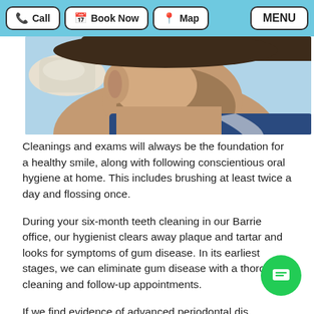Call | Book Now | Map | MENU
[Figure (photo): Close-up photo of a man's neck and lower face being examined, with a dental professional's gloved hand visible]
Cleanings and exams will always be the foundation for a healthy smile, along with following conscientious oral hygiene at home. This includes brushing at least twice a day and flossing once.
During your six-month teeth cleaning in our Barrie office, our hygienist clears away plaque and tartar and looks for symptoms of gum disease. In its earliest stages, we can eliminate gum disease with a thorough cleaning and follow-up appointments.
If we find evidence of advanced periodontal dis... called periodontitis, we recommend scaling and root planing, which is a deep cleaning that removes bacteria